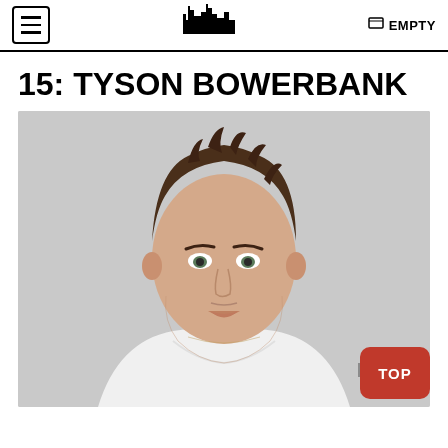≡  [logo]  🛒 EMPTY
15: TYSON BOWERBANK
[Figure (photo): Headshot photo of a young man with tousled brown hair wearing a white t-shirt, photographed against a light gray background]